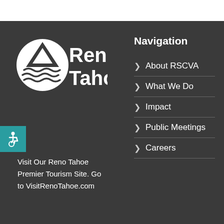[Figure (logo): Reno Tahoe logo with mountain and water waves icon in white on dark background]
[Figure (illustration): Wheelchair accessibility icon in white on teal/turquoise square background]
Visit Our Reno Tahoe Premier Tourism Site. Go to VisitRenoTahoe.com
Navigation
> About RSCVA
> What We Do
> Impact
> Public Meetings
> Careers